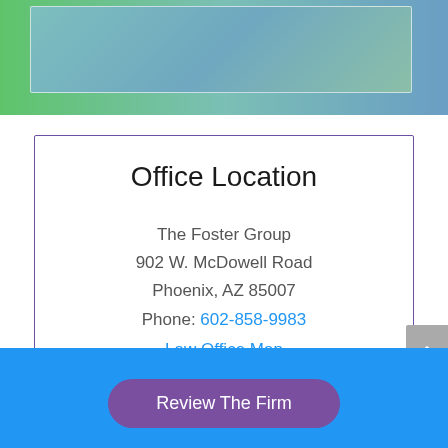Office Location
The Foster Group
902 W. McDowell Road
Phoenix, AZ 85007
Phone: 602-858-9983
Law Office Map
Review The Firm